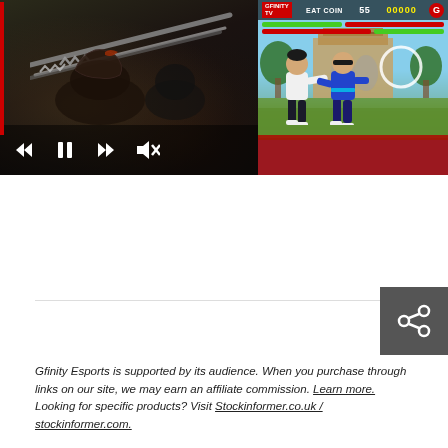[Figure (screenshot): Video player showing two panels: left panel is a dark action game scene with media playback controls (skip back, pause, skip forward, mute icons) overlaid; right panel shows a Mortal Kombat style fighting game scene with HUD showing 'GFINITY TV', 'EAT COIN', health bars, score, and two fighting characters. A red progress bar is visible below the player.]
Gfinity Esports is supported by its audience. When you purchase through links on our site, we may earn an affiliate commission. Learn more. Looking for specific products? Visit Stockinformer.co.uk / stockinformer.com.